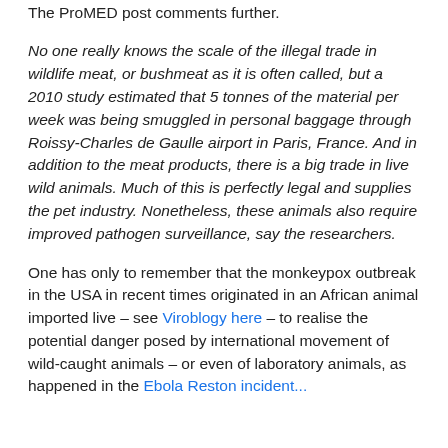The ProMED post comments further.
No one really knows the scale of the illegal trade in wildlife meat, or bushmeat as it is often called, but a 2010 study estimated that 5 tonnes of the material per week was being smuggled in personal baggage through Roissy-Charles de Gaulle airport in Paris, France. And in addition to the meat products, there is a big trade in live wild animals. Much of this is perfectly legal and supplies the pet industry. Nonetheless, these animals also require improved pathogen surveillance, say the researchers.
One has only to remember that the monkeypox outbreak in the USA in recent times originated in an African animal imported live – see Viroblogy here – to realise the potential danger posed by international movement of wild-caught animals – or even of laboratory animals, as happened in the Ebola Reston incident...